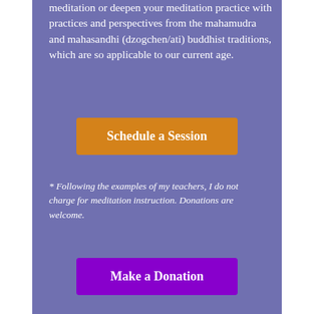meditation or deepen your meditation practice with practices and perspectives from the mahamudra and mahasandhi (dzogchen/ati) buddhist traditions, which are so applicable to our current age.
Schedule a Session
* Following the examples of my teachers, I do not charge for meditation instruction. Donations are welcome.
Make a Donation